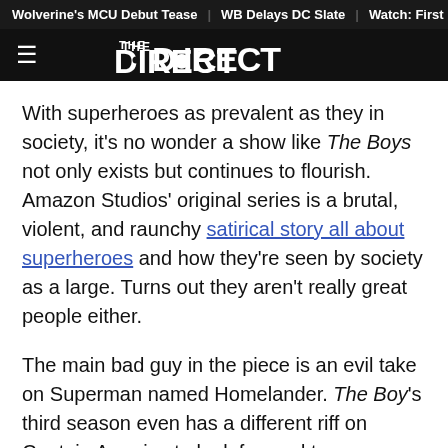Wolverine's MCU Debut Tease | WB Delays DC Slate | Watch: First
[Figure (logo): The Direct logo — hamburger menu icon on the left, 'THE DIRECT' wordmark centered in white on black background]
With superheroes as prevalent as they in society, it's no wonder a show like The Boys not only exists but continues to flourish. Amazon Studios' original series is a brutal, violent, and raunchy satirical story all about superheroes and how they're seen by society as a large. Turns out they aren't really great people either.
The main bad guy in the piece is an evil take on Superman named Homelander. The Boy's third season even has a different riff on Captain America to look forward to.